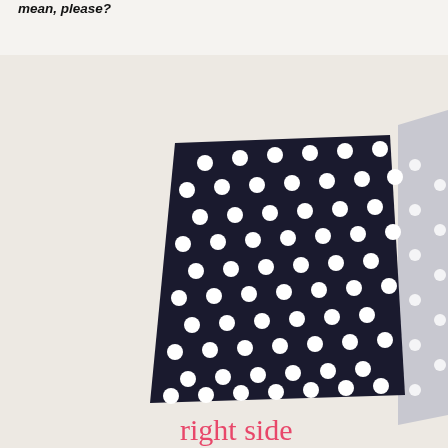mean, please?
[Figure (photo): A trapezoid-shaped piece of black fabric with white polka dots, labeled 'right side'. To the far right, a partial view of a gray fabric piece with white dots is visible.]
right side